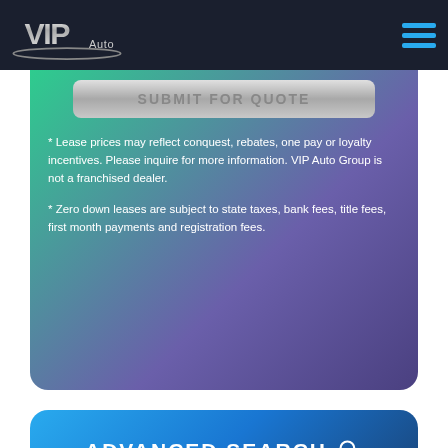[Figure (logo): VIP Auto logo in silver/chrome on dark navy background with hamburger menu icon on right]
[Figure (screenshot): Submit For Quote button - silver/gray gradient button with text]
* Lease prices may reflect conquest, rebates, one pay or loyalty incentives. Please inquire for more information. VIP Auto Group is not a franchised dealer.
* Zero down leases are subject to state taxes, bank fees, title fees, first month payments and registration fees.
ADVANCED SEARCH
[Figure (screenshot): Make dropdown selector in white box at bottom of Advanced Search card]